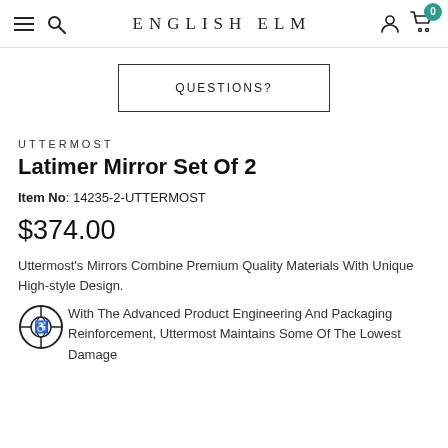ENGLISH ELM
QUESTIONS?
UTTERMOST
Latimer Mirror Set Of 2
Item No: 14235-2-UTTERMOST
$374.00
Uttermost's Mirrors Combine Premium Quality Materials With Unique High-style Design.
With The Advanced Product Engineering And Packaging Reinforcement, Uttermost Maintains Some Of The Lowest Damage